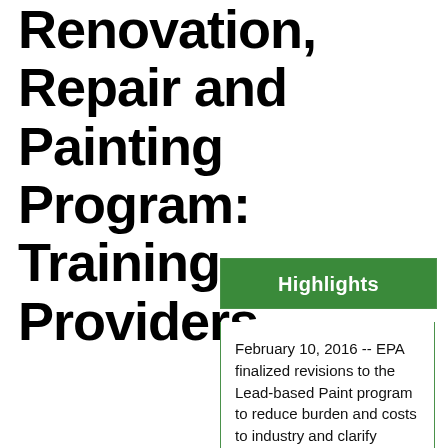Renovation, Repair and Painting Program: Training Providers
Highlights
February 10, 2016 -- EPA finalized revisions to the Lead-based Paint program to reduce burden and costs to industry and clarify language for training providers. A